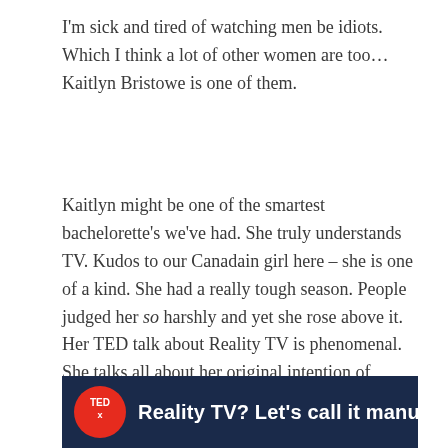I'm sick and tired of watching men be idiots. Which I think a lot of other women are too… Kaitlyn Bristowe is one of them.
Kaitlyn might be one of the smartest bachelorette's we've had. She truly understands TV. Kudos to our Canadain girl here – she is one of a kind. She had a really tough season. People judged her so harshly and yet she rose above it. Her TED talk about Reality TV is phenomenal. She talks all about her original intention of building a brand. It's the classic 'Not Here for the Right Reasons'. So many people go on this show so that they can get those 400k followers and a 'fab fit fun box' endorsement. She got that – but she talks about the responsibility of having a platform. I also really appericate how she's taking a long engagement…
[Figure (screenshot): TEDx video thumbnail showing a speaker on stage with text 'Reality TV? Let's call it manufact' and TEDx logo]